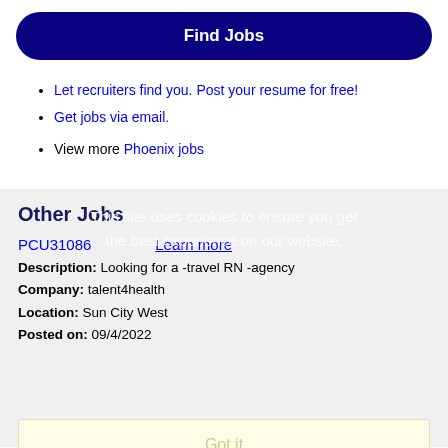Find Jobs
Let recruiters find you. Post your resume for free!
Get jobs via email.
View more Phoenix jobs
Other Jobs
This site uses cookies to ensure you get the best experience on our website.
PCU31086
Learn more
Description: Looking for a -travel RN -agency
Company: talent4health
Location: Sun City West
Posted on: 09/4/2022
Got it
Home Care Aide